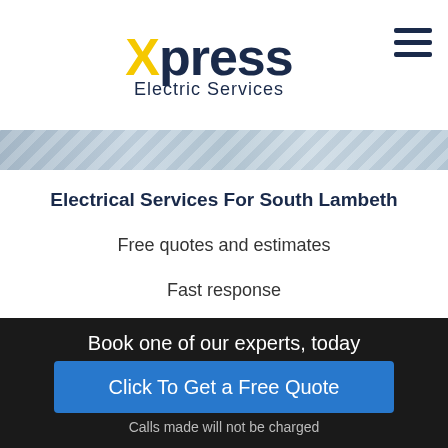[Figure (logo): Xpress Electric Services logo with yellow X and dark navy text, hamburger menu icon top right]
[Figure (photo): Horizontal strip showing electrical cables/wires close-up photo]
Electrical Services For South Lambeth
Free quotes and estimates
Fast response
Fully qualified engineers
No call out charge – no hidden fees
Book one of our experts, today
Click To Get a Free Quote
Calls made will not be charged